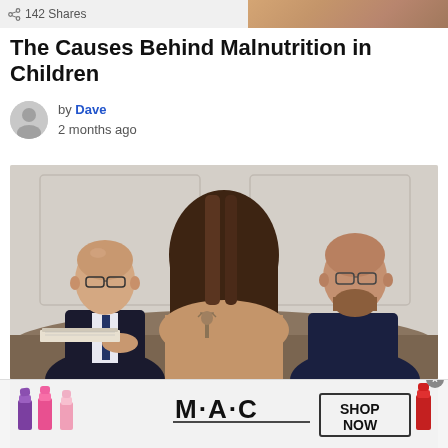142 Shares
The Causes Behind Malnutrition in Children
by Dave
2 months ago
[Figure (photo): Three people at a meeting table: a bald man with glasses on left, a woman with brown hair in center seen from behind, and a bearded bald man with glasses on right. A small Lady Justice figurine sits on the table with open books.]
[Figure (photo): MAC cosmetics advertisement showing lipsticks in purple, pink and red colors with MAC logo and SHOP NOW button.]